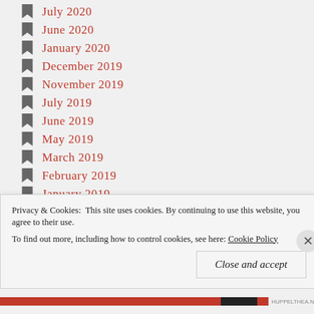July 2020
June 2020
January 2020
December 2019
November 2019
July 2019
June 2019
May 2019
March 2019
February 2019
January 2019
October 2018
July 2018
Privacy & Cookies:  This site uses cookies. By continuing to use this website, you agree to their use.
To find out more, including how to control cookies, see here: Cookie Policy
Close and accept